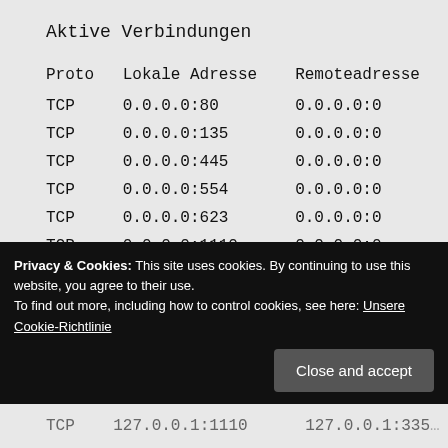Aktive Verbindungen
| Proto | Lokale Adresse | Remoteadresse |
| --- | --- | --- |
| TCP | 0.0.0.0:80 | 0.0.0.0:0 |
| TCP | 0.0.0.0:135 | 0.0.0.0:0 |
| TCP | 0.0.0.0:445 | 0.0.0.0:0 |
| TCP | 0.0.0.0:554 | 0.0.0.0:0 |
| TCP | 0.0.0.0:623 | 0.0.0.0:0 |
| TCP | 0.0.0.0:1110 | 0.0.0.0:0 |
| TCP | 0.0.0.0:2869 | 0.0.0.0:0 |
| TCP | 127.0.0.1:1110 | 127.0.0.1:335... |
Privacy & Cookies: This site uses cookies. By continuing to use this website, you agree to their use.
To find out more, including how to control cookies, see here: Unsere Cookie-Richtlinie
Close and accept